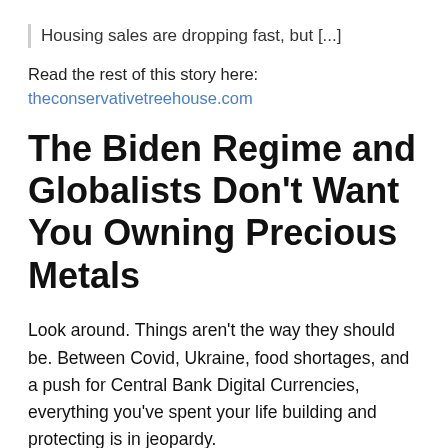Housing sales are dropping fast, but [...]
Read the rest of this story here:
theconservativetreehouse.com
The Biden Regime and Globalists Don't Want You Owning Precious Metals
Look around. Things aren't the way they should be. Between Covid, Ukraine, food shortages, and a push for Central Bank Digital Currencies, everything you've spent your life building and protecting is in jeopardy.
Precious metals are historically the most reliable